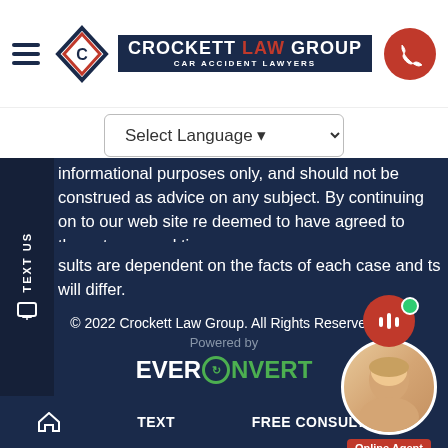[Figure (logo): Crockett Law Group logo with diamond icon and dark navy banner reading CAR ACCIDENT LAWYERS, red phone button on right, hamburger menu on left]
[Figure (screenshot): Select Language dropdown selector]
informational purposes only, and should not be construed as advice on any subject. By continuing on to our web site re deemed to have agreed to these terms and tions.
sults are dependent on the facts of each case and ts will differ.
© 2022 Crockett Law Group. All Rights Reserved.
Powered by
[Figure (logo): EverConvert logo in white and green]
[Figure (photo): Online Agent chat widget with female agent photo, red chat bubble with audio icon, green online indicator dot, red Online Agent label]
HOME   TEXT   FREE CONSULTATION